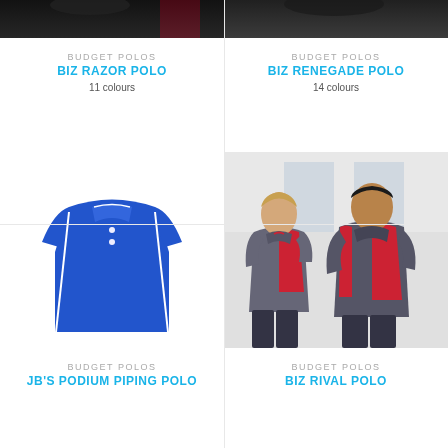[Figure (photo): Top portion of Biz Razor Polo product photo, dark garment]
BUDGET POLOS
BIZ RAZOR POLO
11 colours
[Figure (photo): Top portion of Biz Renegade Polo product photo, dark garment]
BUDGET POLOS
BIZ RENEGADE POLO
14 colours
[Figure (photo): JB's Podium Piping Polo - royal blue polo shirt on white background]
BUDGET POLOS
JB'S PODIUM PIPING POLO
[Figure (photo): Biz Rival Polo - man and woman wearing grey and red polo shirts]
BUDGET POLOS
BIZ RIVAL POLO